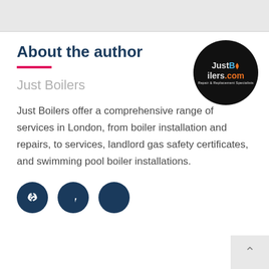About the author
[Figure (logo): JustBoilers.com circular black logo with orange and blue text and tagline 'Repair & Replacement Specialists']
Just Boilers
Just Boilers offer a comprehensive range of services in London, from boiler installation and repairs, to services, landlord gas safety certificates, and swimming pool boiler installations.
[Figure (other): Three dark blue circular social media icons: link/chain icon, Facebook icon, Twitter icon]